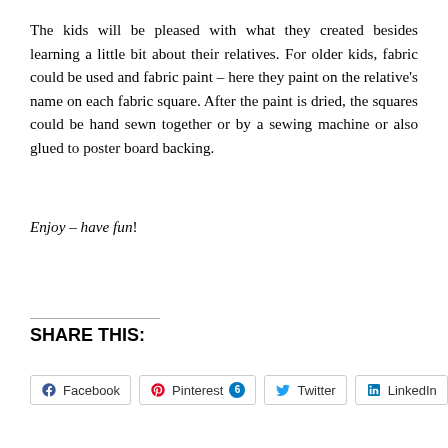The kids will be pleased with what they created besides learning a little bit about their relatives. For older kids, fabric could be used and fabric paint – here they paint on the relative's name on each fabric square. After the paint is dried, the squares could be hand sewn together or by a sewing machine or also glued to poster board backing.
Enjoy – have fun!
SHARE THIS:
Facebook | Pinterest 6 | Twitter | LinkedIn